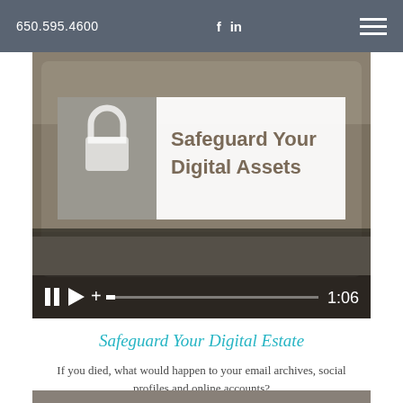650.595.4600  f  in
[Figure (screenshot): Video thumbnail showing a tablet with 'Safeguard Your Digital Assets' overlay card, a padlock icon graphic, and video playback controls showing 1:06 duration]
Safeguard Your Digital Estate
If you died, what would happen to your email archives, social profiles and online accounts?